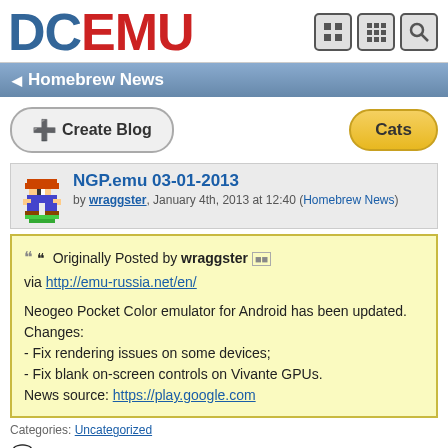DCEMU
Homebrew News
Create Blog
Cats
NGP.emu 03-01-2013
by wraggster, January 4th, 2013 at 12:40 (Homebrew News)
Originally Posted by wraggster
via http://emu-russia.net/en/

Neogeo Pocket Color emulator for Android has been updated. Changes:
- Fix rendering issues on some devices;
- Fix blank on-screen controls on Vivante GPUs.
News source: https://play.google.com
Categories: Uncategorized
0 Comments